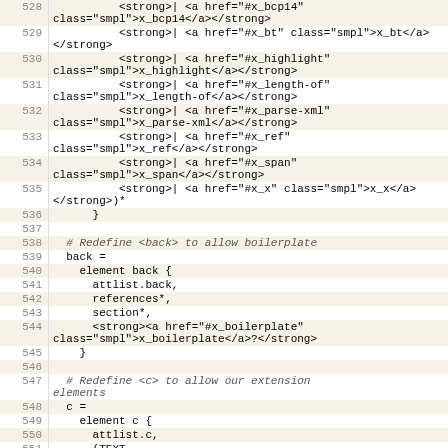[Figure (screenshot): Source code listing with line numbers 528-551 showing XML/DTD-like code with element definitions for 'back' and 'c' elements, including strong tags with href links and em comments.]